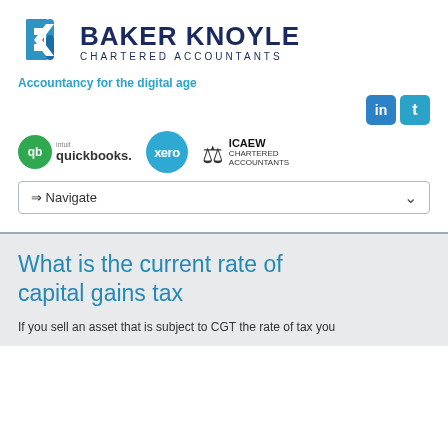[Figure (logo): Baker Knoyle Chartered Accountants logo with blue chevron icon]
Accountancy for the digital age
[Figure (logo): Social media icons: LinkedIn and Twitter]
[Figure (logo): Partner logos: intuit quickbooks, xero, ICAEW Chartered Accountants]
⇒ Navigate
What is the current rate of capital gains tax
If you sell an asset that is subject to CGT the rate of tax you